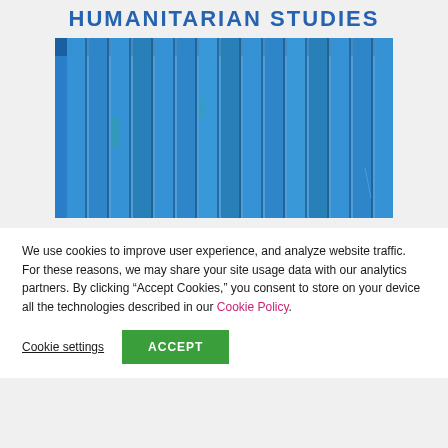HUMANITARIAN STUDIES
[Figure (photo): Close-up photo of blue painted vertical wooden fence slats with metallic gaps between them]
We use cookies to improve user experience, and analyze website traffic. For these reasons, we may share your site usage data with our analytics partners. By clicking “Accept Cookies,” you consent to store on your device all the technologies described in our Cookie Policy.
Cookie settings
ACCEPT